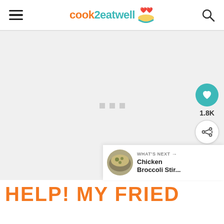cook2eatwell
[Figure (screenshot): Loading placeholder area with three gray square dots centered on a light gray background]
[Figure (infographic): Side social buttons: heart button (teal circle, 1.8K count) and share button (white circle with share icon)]
[Figure (photo): What's Next bar showing a circular thumbnail of Chicken Broccoli Stir Fry dish]
HELP! MY FRIED